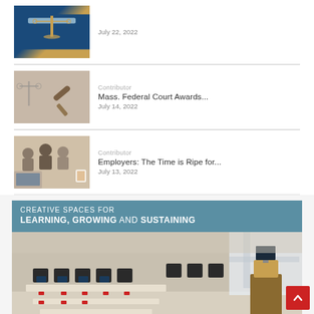[Figure (photo): Partially visible image of scales of justice, top of page]
July 22, 2022
[Figure (photo): Legal gavel and scales on desk]
Contributor
Mass. Federal Court Awards...
July 14, 2022
[Figure (photo): Group of people working together with tablets and laptops]
Contributor
Employers: The Time is Ripe for...
July 13, 2022
[Figure (photo): Advertisement banner: Creative Spaces for Learning, Growing and Sustaining — showing a modern conference/classroom room with rows of chairs and computers]